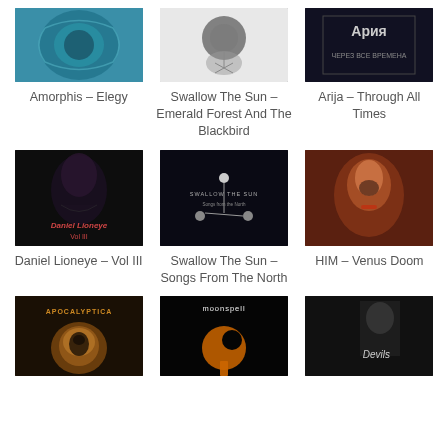[Figure (photo): Album art grid - Row 1: Amorphis Elegy (teal/blue abstract), Swallow The Sun Emerald Forest (black and white), Arija Through All Times (dark with Cyrillic text)]
Amorphis – Elegy
Swallow The Sun – Emerald Forest And The Blackbird
Arija – Through All Times
[Figure (photo): Album art grid - Row 2: Daniel Lioneye Vol III (hooded figure), Swallow The Sun Songs From The North (dark constellation), HIM Venus Doom (face with orange/red)]
Daniel Lioneye – Vol III
Swallow The Sun – Songs From The North
HIM – Venus Doom
[Figure (photo): Album art grid - Row 3 partial: Apocalyptica (skull), Moonspell (crescent moon logo), Devils (person)]